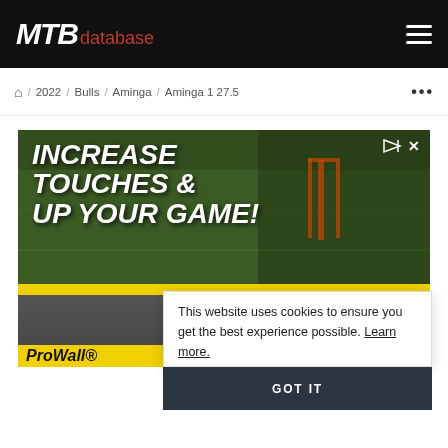MTB database
🏠 / 2022 / Bulls / Aminga / Aminga 1 27.5 ···
[Figure (photo): Advertisement banner showing lacrosse players with text 'INCREASE TOUCHES & UP YOUR GAME!' and ProWall® branding on yellow background]
This website uses cookies to ensure you get the best experience possible. Learn more.
GOT IT